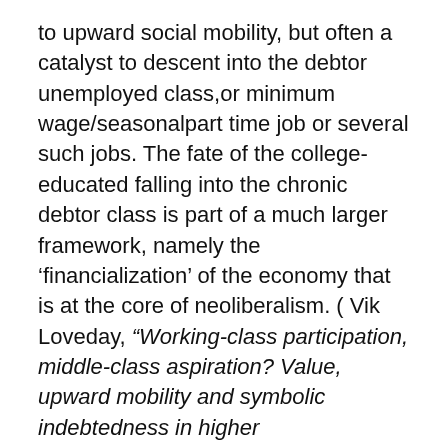to upward social mobility, but often a catalyst to descent into the debtor unemployed class,or minimum wage/seasonalpart time job or several such jobs. The fate of the college-educated falling into the chronic debtor class is part of a much larger framework, namely the ‘financialization’ of the economy that is at the core of neoliberalism. ( Vik Loveday, “Working-class participation, middle-class aspiration? Value, upward mobility and symbolic indebtedness in higher education.”The Sociological Review, September 2014)
Beyond the simplistic suggestion of